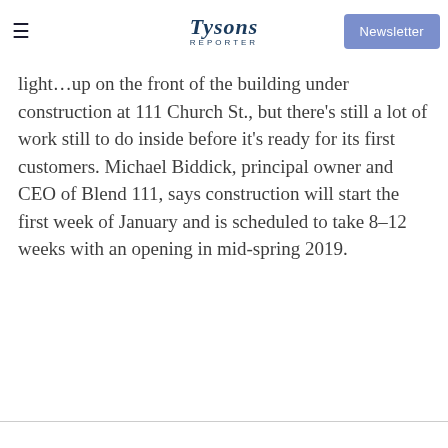Tysons Reporter | Newsletter
…light…up on the front of the building under construction at 111 Church St., but there's still a lot of work still to do inside before it's ready for its first customers. Michael Biddick, principal owner and CEO of Blend 111, says construction will start the first week of January and is scheduled to take 8-12 weeks with an opening in mid-spring 2019.